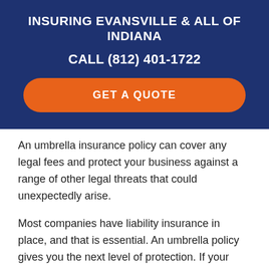INSURING EVANSVILLE & ALL OF INDIANA
CALL (812) 401-1722
GET A QUOTE
An umbrella insurance policy can cover any legal fees and protect your business against a range of other legal threats that could unexpectedly arise.
Most companies have liability insurance in place, and that is essential. An umbrella policy gives you the next level of protection. If your liability coverage limits are too low to cover the costs in a catastrophic injury claim, your umbrella policy covers the shortfall.